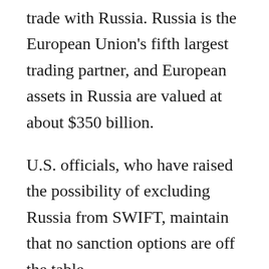trade with Russia. Russia is the European Union's fifth largest trading partner, and European assets in Russia are valued at about $350 billion.
U.S. officials, who have raised the possibility of excluding Russia from SWIFT, maintain that no sanction options are off the table.
As Western allies continue to debate about what military supplies they should be sending to Ukraine and what sanctions to implement, anxiety is mounting in Baltic nations about